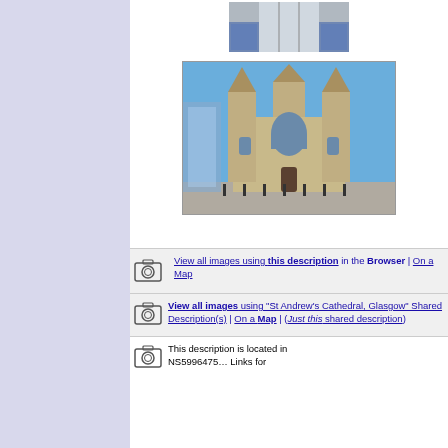[Figure (photo): Small thumbnail image at top, appears to show an interior or architectural detail]
[Figure (photo): Photograph of St Andrew's Cathedral, Glasgow — Gothic stone church facade with twin towers against a blue sky, modern glass building visible to the left]
View all images using this description in the Browser | On a Map
View all images using "St Andrew's Cathedral, Glasgow" Shared Description(s) | On a Map | (Just this shared description)
This description is located in NS5996475... Links for